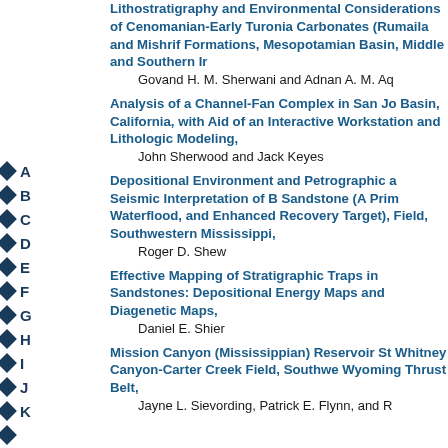A
B
C
D
E
F
G
H
I
J
K
Lithostratigraphy and Environmental Considerations of Cenomanian-Early Turonian Carbonates (Rumaila and Mishrif Formations), Mesopotamian Basin, Middle and Southern Ir
Govand H. M. Sherwani and Adnan A. M. Aq
Analysis of a Channel-Fan Complex in San Jo Basin, California, with Aid of an Interactive Workstation and Lithologic Modeling,
John Sherwood and Jack Keyes
Depositional Environment and Petrographic a Seismic Interpretation of B Sandstone (A Prim Waterflood, and Enhanced Recovery Target), Field, Southwestern Mississippi,
Roger D. Shew
Effective Mapping of Stratigraphic Traps in Sandstones: Depositional Energy Maps and Diagenetic Maps,
Daniel E. Shier
Mission Canyon (Mississippian) Reservoir St Whitney Canyon-Carter Creek Field, Southwe Wyoming Thrust Belt,
Jayne L. Sievording, Patrick E. Flynn, and R